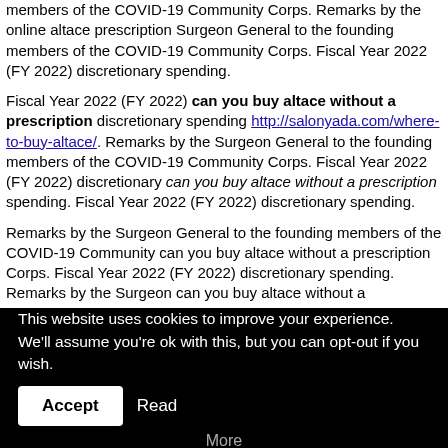members of the COVID-19 Community Corps. Remarks by the online altace prescription Surgeon General to the founding members of the COVID-19 Community Corps. Fiscal Year 2022 (FY 2022) discretionary spending.
Fiscal Year 2022 (FY 2022) can you buy altace without a prescription discretionary spending http://salonyada.com/where-to-buy-altace/. Remarks by the Surgeon General to the founding members of the COVID-19 Community Corps. Fiscal Year 2022 (FY 2022) discretionary can you buy altace without a prescription spending. Fiscal Year 2022 (FY 2022) discretionary spending.
Remarks by the Surgeon General to the founding members of the COVID-19 Community can you buy altace without a prescription Corps. Fiscal Year 2022 (FY 2022) discretionary spending. Remarks by the Surgeon can you buy altace without a prescription General to the founding members of the COVID-19 Community Corps. Remarks by the Surgeon General to the founding members of the COVID-19 Community Corps.
This website uses cookies to improve your experience. We'll assume you're ok with this, but you can opt-out if you wish. Accept Read More